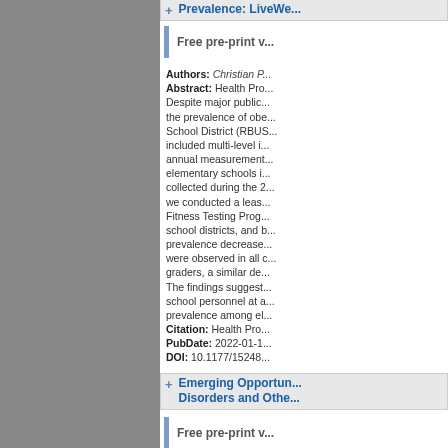Prevalence: LiveWe...
Free pre-print v...
Authors: Christian P...
Abstract: Health Pro... Despite major public... the prevalence of obe... School District (RBUS... included multi-level i... annual measurement... elementary schools i... collected during the 2... we conducted a leas... Fitness Testing Prog... school districts, and ... prevalence decrease... were observed in all... graders, a similar de... The findings suggest... school personnel at a... prevalence among el...
Citation: Health Pro...
PubDate: 2022-01-1...
DOI: 10.1177/15248...
Emerging Opportun... Disorders and Othe...
Free pre-print v...